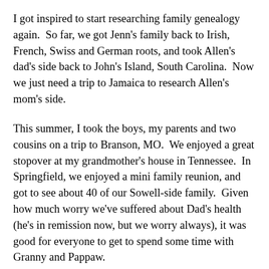I got inspired to start researching family genealogy again.  So far, we got Jenn's family back to Irish, French, Swiss and German roots, and took Allen's dad's side back to John's Island, South Carolina.  Now we just need a trip to Jamaica to research Allen's mom's side.
This summer, I took the boys, my parents and two cousins on a trip to Branson, MO.  We enjoyed a great stopover at my grandmother's house in Tennessee.  In Springfield, we enjoyed a mini family reunion, and got to see about 40 of our Sowell-side family.  Given how much worry we've suffered about Dad's health (he's in remission now, but we worry always), it was good for everyone to get to spend some time with Granny and Pappaw.
I spent the summer interviewing with new churches, and announced in November that I will be the new